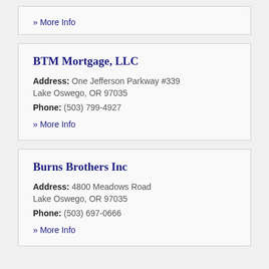» More Info
BTM Mortgage, LLC
Address: One Jefferson Parkway #339
Lake Oswego, OR 97035
Phone: (503) 799-4927
» More Info
Burns Brothers Inc
Address: 4800 Meadows Road
Lake Oswego, OR 97035
Phone: (503) 697-0666
» More Info